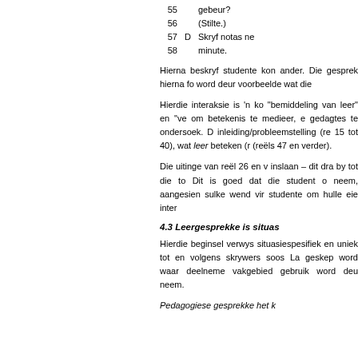55    gebeur?
56    (Stilte.)
57  D  Skryf notas ne
58    minute.
Hierna beskryf studente kon ander. Die gesprek hierna fo word deur voorbeelde wat die
Hierdie interaksie is 'n ko "bemiddeling van leer" en "ve om betekenis te medieer, e gedagtes te ondersoek. D inleiding/probleemstelling (re 15 tot 40), wat leer beteken (r (reëls 47 en verder).
Die uitinge van reël 26 en v inslaan – dit dra by tot die to Dit is goed dat die student o neem, aangesien sulke wend vir studente om hulle eie inter
4.3 Leergesprekke is situas
Hierdie beginsel verwys situasiespesifiek en uniek tot en volgens skrywers soos La geskep word waar deelneme vakgebied gebruik word deu neem.
Pedagogiese gesprekke het k